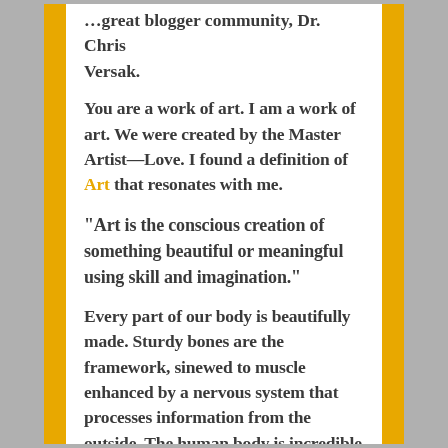…great blogger community, Dr. Chris Versak.
You are a work of art. I am a work of art. We were created by the Master Artist—Love. I found a definition of Art that resonates with me.
“Art is the conscious creation of something beautiful or meaningful using skill and imagination.”
Every part of our body is beautifully made. Sturdy bones are the framework, sinewed to muscle enhanced by a nervous system that processes information from the outside. The human body is incredible when you think about it. We heal